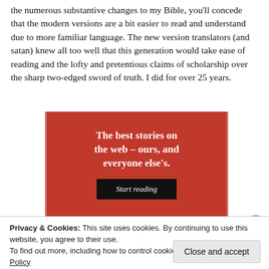the numerous substantive changes to my Bible, you'll concede that the modern versions are a bit easier to read and understand due to more familiar language. The new version translators (and satan) knew all too well that this generation would take ease of reading and the lofty and pretentious claims of scholarship over the sharp two-edged sword of truth. I did for over 25 years.
[Figure (other): Advertisement banner with red background, white serif text reading 'The best stories on the web – ours, and everyone else's.' and a black 'Start reading' button]
Privacy & Cookies: This site uses cookies. By continuing to use this website, you agree to their use. To find out more, including how to control cookies, see here: Cookie Policy
Close and accept